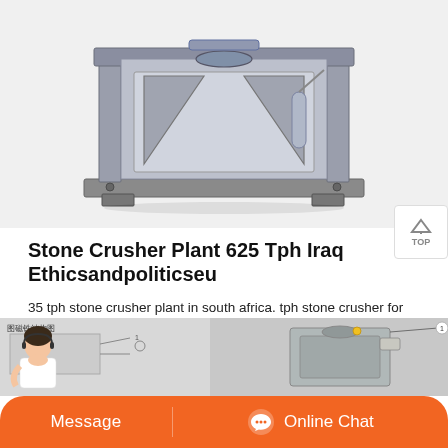[Figure (engineering-diagram): 3D CAD rendering of a stone crusher machine, shown in gray/blue tones, isometric view]
Stone Crusher Plant 625 Tph Iraq Ethicsandpoliticseu
35 tph stone crusher plant in south africa. tph stone crusher for rent south africa. 2021-6-9 35 tph stone crushing machine south africa. is the density of iron ore fines greater than iron ore iron ore concentrate density Cru South Africa Bulk Density (t/m3) Loose 25 Compacted 27 Iron Ore 1... tph rock stone crusher plant price used find 120 180 tph stone crushing plant stone
[Figure (schematic): Bottom section showing a Chinese-labeled schematic diagram on the left and a photo of an industrial crusher machine on the right, with a customer service agent image overlaid, and an orange chat bar at the bottom with Message and Online Chat buttons]